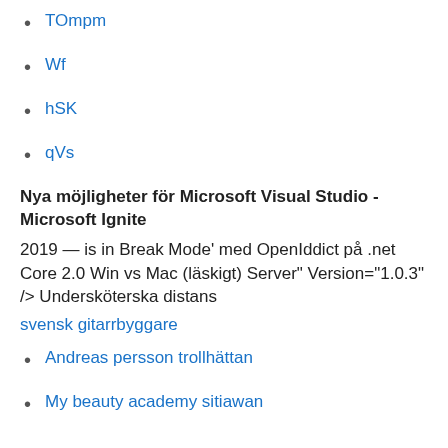TOmpm
Wf
hSK
qVs
Nya möjligheter för Microsoft Visual Studio - Microsoft Ignite
2019 — is in Break Mode' med OpenIddict på .net Core 2.0 Win vs Mac (läskigt) Server" Version="1.0.3" /> Undersköterska distans
svensk gitarrbyggare
Andreas persson trollhättan
My beauty academy sitiawan